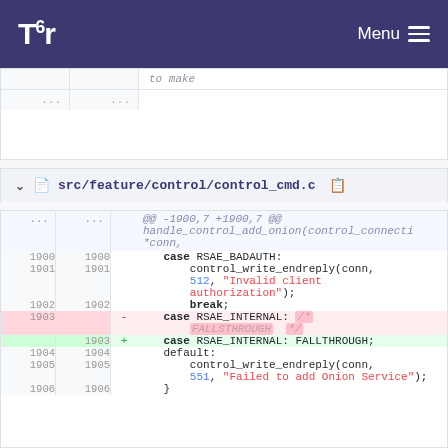Tor  Menu
[Figure (screenshot): Top snippet showing partial code with ellipsis rows and italic comment 'to make']
src/feature/control/control_cmd.c
| old line | new line | sign | code |
| --- | --- | --- | --- |
| ... | ... |  | @@ -1900,7 +1900,7 @@ handle_control_add_onion(control_connecti *conn, |
| 1900 | 1900 |  |     case RSAE_BADAUTH: |
| 1901 | 1901 |  |         control_write_endreply(conn, 512, "Invalid client authorization"); |
| 1902 | 1902 |  |         break; |
| 1903 |  | - |     case RSAE_INTERNAL: /* FALLSTHROUGH */ |
|  | 1903 | + |     case RSAE_INTERNAL: FALLTHROUGH; |
| 1904 | 1904 |  |     default: |
| 1905 | 1905 |  |         control_write_endreply(conn, 551, "Failed to add Onion Service"); |
| 1906 | 1906 |  |     } |